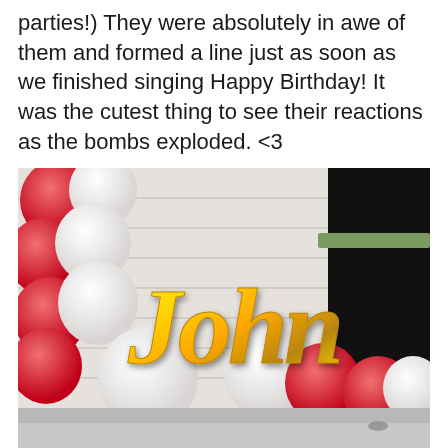parties!) They were absolutely in awe of them and formed a line just as soon as we finished singing Happy Birthday! It was the cutest thing to see their reactions as the bombs exploded. <3
[Figure (photo): A balloon arch display against a white shiplap wall featuring red and white balloons arranged in an arc, with a gold foil script balloon reading 'John' in the center. The display is set up for a birthday party.]